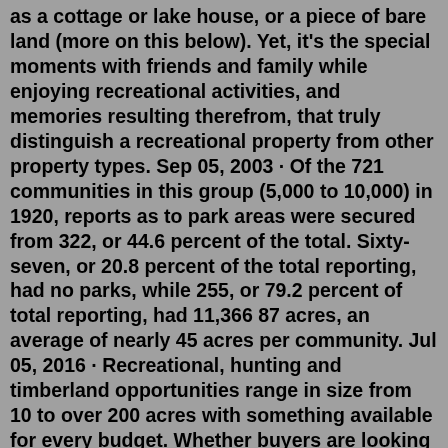as a cottage or lake house, or a piece of bare land (more on this below). Yet, it's the special moments with friends and family while enjoying recreational activities, and memories resulting therefrom, that truly distinguish a recreational property from other property types. Sep 05, 2003 · Of the 721 communities in this group (5,000 to 10,000) in 1920, reports as to park areas were secured from 322, or 44.6 percent of the total. Sixty-seven, or 20.8 percent of the total reporting, had no parks, while 255, or 79.2 percent of total reporting, had 11,366 87 acres, an average of nearly 45 acres per community. Jul 05, 2016 · Recreational, hunting and timberland opportunities range in size from 10 to over 200 acres with something available for every budget. Whether buyers are looking at land as an investment, for personal recreation, for a first or second home or because of the memories that can be made on it, the PotlatchDeltic teams brings together foresters, land ... Jul 28, 2016 · Land that's recreational?, Montana, 6